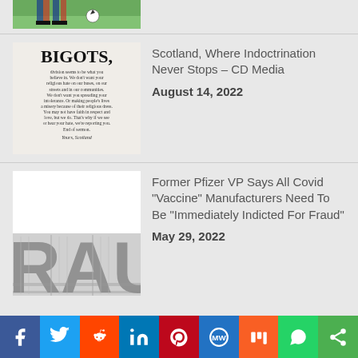[Figure (photo): Partial view of soccer/football players on green grass field]
[Figure (photo): Anti-bigotry letter from Scotland with text starting 'BIGOTS,' and body text about religious hate]
Scotland, Where Indoctrination Never Stops – CD Media
August 14, 2022
[Figure (photo): Metal letterpress type letters spelling RAUD (part of FRAUD) in black and white]
Former Pfizer VP Says All Covid "Vaccine" Manufacturers Need To Be “Immediately Indicted For Fraud”
May 29, 2022
Social share bar: Facebook, Twitter, Reddit, LinkedIn, Pinterest, MeWe, Mix, WhatsApp, Share